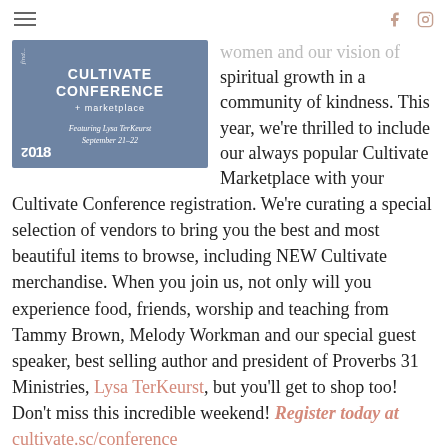≡  [social icons: f, instagram]
[Figure (illustration): Cultivate Conference + marketplace logo on blue/slate background. Text reads: CULTIVATE CONFERENCE + marketplace. Featuring Lysa TerKeurst, September 21-22. Year 2018 in bottom left corner.]
women and our vision of spiritual growth in a community of kindness. This year, we're thrilled to include our always popular Cultivate Marketplace with your Cultivate Conference registration. We're curating a special selection of vendors to bring you the best and most beautiful items to browse, including NEW Cultivate merchandise. When you join us, not only will you experience food, friends, worship and teaching from Tammy Brown, Melody Workman and our special guest speaker, best selling author and president of Proverbs 31 Ministries, Lysa TerKeurst, but you'll get to shop too! Don't miss this incredible weekend! Register today at cultivate.sc/conference